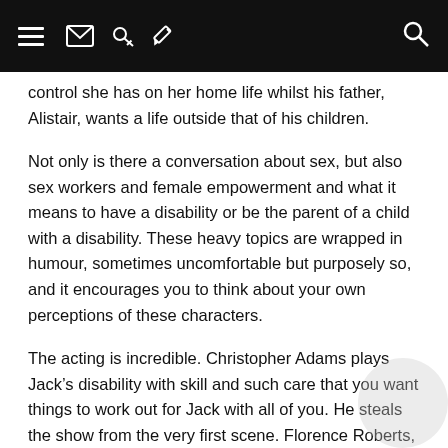[navigation bar with hamburger menu, mail, key, pencil icons, and search icon]
control she has on her home life whilst his father, Alistair, wants a life outside that of his children.
Not only is there a conversation about sex, but also sex workers and female empowerment and what it means to have a disability or be the parent of a child with a disability. These heavy topics are wrapped in humour, sometimes uncomfortable but purposely so, and it encourages you to think about your own perceptions of these characters.
The acting is incredible. Christopher Adams plays Jack’s disability with skill and such care that you want things to work out for Jack with all of you. He steals the show from the very first scene. Florence Roberts, our Julie, spends quite a lot of time in her underwear, and the confidence to do such a thing in a such a small theatre is applaudable – not to mention she speaks with such honest rawness when Antonia